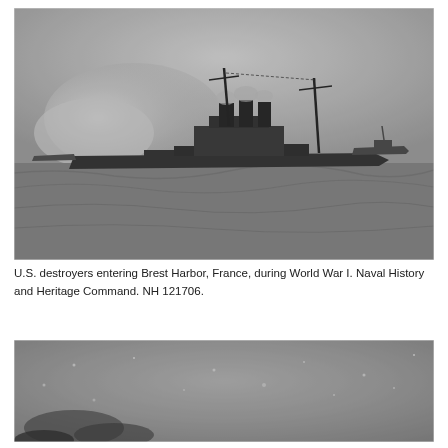[Figure (photo): Black and white photograph of U.S. destroyers entering Brest Harbor, France, during World War I. Ships are visible on open water with an overcast sky.]
U.S. destroyers entering Brest Harbor, France, during World War I. Naval History and Heritage Command. NH 121706.
[Figure (photo): Black and white photograph, partially visible at bottom of page, showing a dark grainy scene, possibly an aerial or sea-level view with light speckles visible.]